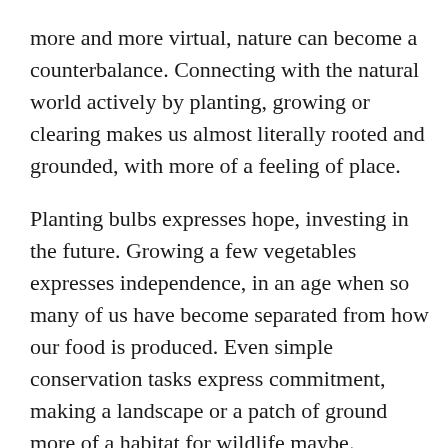more and more virtual, nature can become a counterbalance. Connecting with the natural world actively by planting, growing or clearing makes us almost literally rooted and grounded, with more of a feeling of place.
Planting bulbs expresses hope, investing in the future. Growing a few vegetables expresses independence, in an age when so many of us have become separated from how our food is produced. Even simple conservation tasks express commitment, making a landscape or a patch of ground more of a habitat for wildlife maybe.
Independence can boost confidence, hope can improve mood, contributing to biodiversity can create different perspectives. There are so many diverse